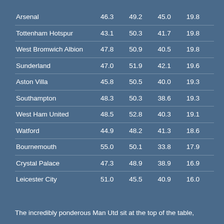| Arsenal | 46.3 | 49.2 | 45.0 | 19.8 |
| Tottenham Hotspur | 43.1 | 50.3 | 41.7 | 19.8 |
| West Bromwich Albion | 47.8 | 50.9 | 40.5 | 19.8 |
| Sunderland | 47.0 | 51.9 | 42.1 | 19.6 |
| Aston Villa | 45.8 | 50.5 | 40.0 | 19.3 |
| Southampton | 48.3 | 50.3 | 38.6 | 19.3 |
| West Ham United | 48.5 | 52.8 | 40.3 | 19.1 |
| Watford | 44.9 | 48.2 | 41.3 | 18.6 |
| Bournemouth | 55.0 | 50.1 | 33.8 | 17.9 |
| Crystal Palace | 47.3 | 48.9 | 38.9 | 16.9 |
| Leicester City | 51.0 | 45.5 | 40.9 | 16.0 |
The incredibly ponderous Man Utd sit at the top of the table,